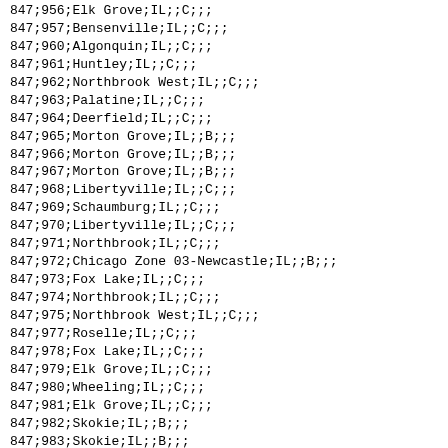847;956;Elk Grove;IL;;C;;;
847;957;Bensenville;IL;;C;;;
847;960;Algonquin;IL;;C;;;
847;961;Huntley;IL;;C;;;
847;962;Northbrook West;IL;;C;;;
847;963;Palatine;IL;;C;;;
847;964;Deerfield;IL;;C;;;
847;965;Morton Grove;IL;;B;;;
847;966;Morton Grove;IL;;B;;;
847;967;Morton Grove;IL;;B;;;
847;968;Libertyville;IL;;C;;;
847;969;Schaumburg;IL;;C;;;
847;970;Libertyville;IL;;C;;;
847;971;Northbrook;IL;;C;;;
847;972;Chicago Zone 03-Newcastle;IL;;B;;;
847;973;Fox Lake;IL;;C;;;
847;974;Northbrook;IL;;C;;;
847;975;Northbrook West;IL;;C;;;
847;977;Roselle;IL;;C;;;
847;978;Fox Lake;IL;;C;;;
847;979;Elk Grove;IL;;C;;;
847;980;Wheeling;IL;;C;;;
847;981;Elk Grove;IL;;C;;;
847;982;Skokie;IL;;B;;;
847;983;Skokie;IL;;B;;;
847;984;Libertyville;IL;;C;;;
847;985;Roselle;IL;;C;;;
847;986;Grayslake;IL;;C;;;
847;987;Roselle;IL;;C;;;
847;988;La Grange;IL;;B;;;